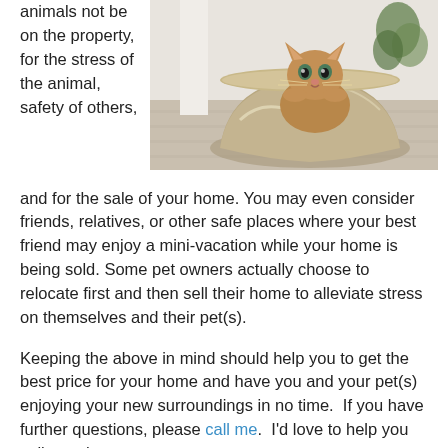animals not be on the property, for the stress of the animal, safety of others, and for the sale of your home. You may even consider friends, relatives, or other safe places where your best friend may enjoy a mini-vacation while your home is being sold. Some pet owners actually choose to relocate first and then sell their home to alleviate stress on themselves and their pet(s).
[Figure (photo): A small kitten sitting inside a shiny metal bowl on a light wood floor with a blurred plant in the background.]
Keeping the above in mind should help you to get the best price for your home and have you and your pet(s) enjoying your new surroundings in no time.  If you have further questions, please call me.  I'd love to help you sell your home.
Written by Natasha on April 22, 2015. Posted in